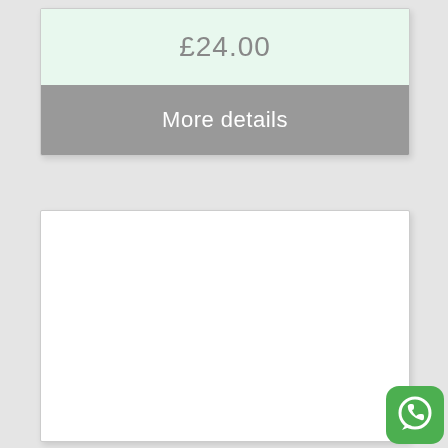£24.00
More details
[Figure (screenshot): Empty white card/panel area below the price and more details card]
[Figure (logo): WhatsApp app icon - green rounded square with white phone/speech bubble logo]